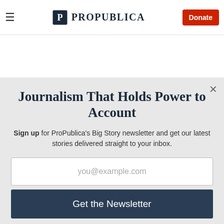ProPublica — Donate
This article is co-published with the Texas Tribune, a nonprofit, nonpartisan local newsroom that informs and engages with Texans. Sign up for The Brief Weekly to get up to speed on their coverage.
Journalism That Holds Power to Account
Sign up for ProPublica's Big Story newsletter and get our latest stories delivered straight to your inbox.
you@example.com
Get the Newsletter
No thanks, I'm all set
This site is protected by reCAPTCHA and the Google Privacy Policy and Terms of Service apply.